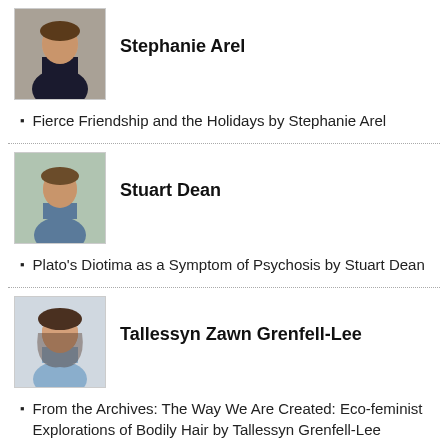[Figure (photo): Headshot of Stephanie Arel, woman in dark blazer]
Stephanie Arel
Fierce Friendship and the Holidays by Stephanie Arel
[Figure (photo): Headshot of Stuart Dean, man outdoors]
Stuart Dean
Plato's Diotima as a Symptom of Psychosis by Stuart Dean
[Figure (photo): Headshot of Tallessyn Zawn Grenfell-Lee, woman smiling]
Tallessyn Zawn Grenfell-Lee
From the Archives: The Way We Are Created: Eco-feminist Explorations of Bodily Hair by Tallessyn Grenfell-Lee
[Figure (photo): Photo of Trelawney Grenfell-Muir with a child]
Trelawney Grenfell-Muir
All these sexist movies turn me red by Trelawney Grenfell-Muir
[Figure (photo): Partial headshot of Valentine Khan, cropped at bottom of page]
Valentine Khan